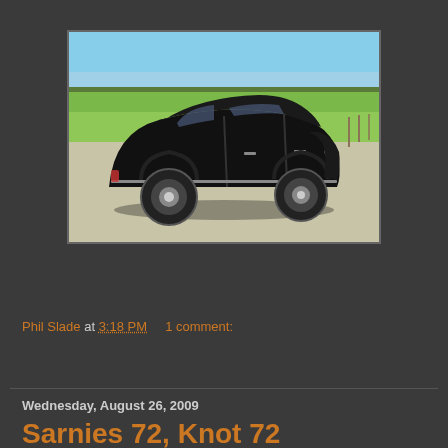[Figure (photo): Black Citroen 2CV car photographed from the side/rear angle, parked on a gravel area with green fields and blue sky in the background]
Phil Slade at 3:18 PM    1 comment:
Share
Wednesday, August 26, 2009
Sarnies 72, Knot 72